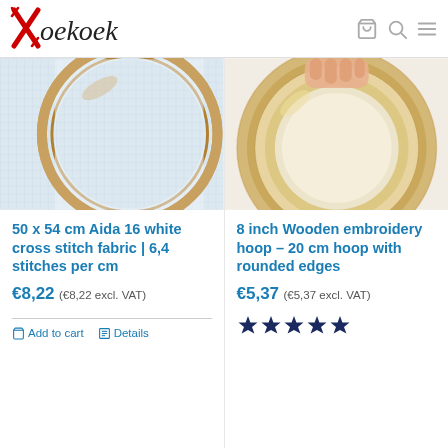[Figure (logo): Koekoek brand logo with red cross-stitch X and black cursive text]
[Figure (photo): Embroidery hoop with white Aida cross stitch fabric, viewed from above on white background]
50 x 54 cm Aida 16 white cross stitch fabric | 6,4 stitches per cm
€8,22 (€8,22 excl. VAT)
Add to cart   Details
[Figure (photo): Wooden embroidery hoop, 8 inch / 20 cm, with rounded edges, held by a hand, beige/natural wood color]
8 inch Wooden embroidery hoop – 20 cm hoop with rounded edges
€5,37 (€5,37 excl. VAT)
[Figure (other): 5 star rating displayed as dark blue filled stars]